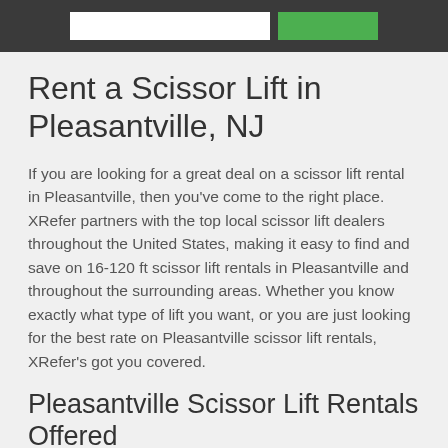[Figure (screenshot): Website header bar with a search input box and a green button]
Rent a Scissor Lift in Pleasantville, NJ
If you are looking for a great deal on a scissor lift rental in Pleasantville, then you've come to the right place. XRefer partners with the top local scissor lift dealers throughout the United States, making it easy to find and save on 16-120 ft scissor lift rentals in Pleasantville and throughout the surrounding areas. Whether you know exactly what type of lift you want, or you are just looking for the best rate on Pleasantville scissor lift rentals, XRefer's got you covered.
Pleasantville Scissor Lift Rentals Offered
Here at XRefer we know that our customers need different types and sized scissor lifts for their jobs in and around Pleasantville, which is why we've got an unparalleled selection of Pleasantville scissor lift models to choose from. Request a